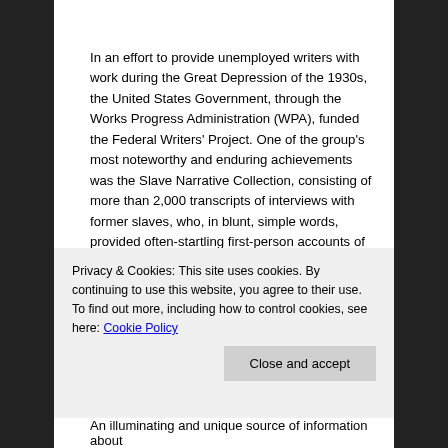In an effort to provide unemployed writers with work during the Great Depression of the 1930s, the United States Government, through the Works Progress Administration (WPA), funded the Federal Writers' Project. One of the group's most noteworthy and enduring achievements was the Slave Narrative Collection, consisting of more than 2,000 transcripts of interviews with former slaves, who, in blunt, simple words, provided often-startling first-person accounts of their lives in bondage. This book reprints some of the most detailed and engrossing life histories in the collection. Each narrative is complete,
Privacy & Cookies: This site uses cookies. By continuing to use this website, you agree to their use.
To find out more, including how to control cookies, see here: Cookie Policy
Close and accept
An illuminating and unique source of information about